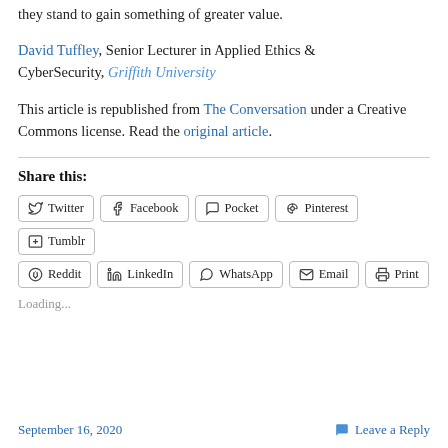they stand to gain something of greater value.
David Tuffley, Senior Lecturer in Applied Ethics & CyberSecurity, Griffith University
This article is republished from The Conversation under a Creative Commons license. Read the original article.
Share this:
Twitter Facebook Pocket Pinterest Tumblr Reddit LinkedIn WhatsApp Email Print
Loading...
September 16, 2020   Leave a Reply